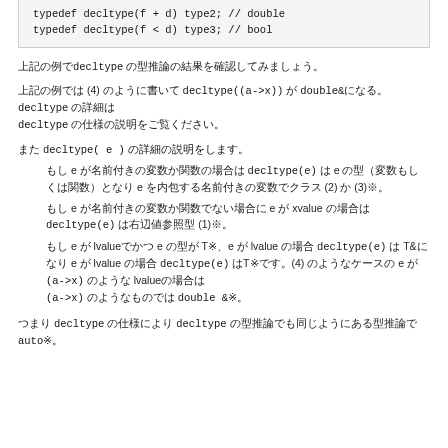typedef decltype(f + d) type2;  // double
    typedef decltype(f < d) type3;  // bool
上記の例でdecltype の型推論の結果を確認してみましょう。
上記の例では (4) のように書いて decltype((a->x)) が double& になる。decltype の詳細はdecltype の仕様の説明をご覧ください。
また decltype( e ) の詳細の説明をします。
もし e が名前付きの変数か関数の場合は decltype(e) は e の型（変数もしくは関数）となり e を内包する名前付きの変数でクラス (2) か (3)※。
もし e が名前付きの変数か関数でない場合に e が xvalue の場合は decltype(e) は右辺値参照型 (1)※。
もし e が lvalueでかつ e の型が T※、e が lvalue の場合 decltype(e) は T& になり e が lvalue の場合 decltype(e) はT※です。(4) のようなケースの e が (a->x) のような lvalueの場合は(a->x) のようなものでは double &※。
つまり decltype の仕様により decltype の型推論でも同じように auto※。